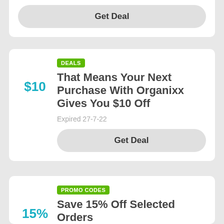Get Deal
DEALS
That Means Your Next Purchase With Organixx Gives You $10 Off
$10
Expired 27-7-22
Get Deal
PROMO CODES
Save 15% Off Selected Orders
15%
Expired 6-1-22